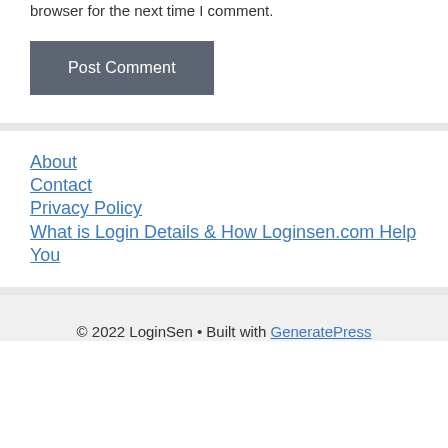browser for the next time I comment.
Post Comment
About
Contact
Privacy Policy
What is Login Details & How Loginsen.com Help You
© 2022 LoginSen • Built with GeneratePress